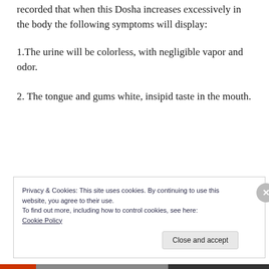recorded that when this Dosha increases excessively in the body the following symptoms will display:
1.The urine will be colorless, with negligible vapor and odor.
2. The tongue and gums white, insipid taste in the mouth.
Privacy & Cookies: This site uses cookies. By continuing to use this website, you agree to their use.
To find out more, including how to control cookies, see here: Cookie Policy
Close and accept